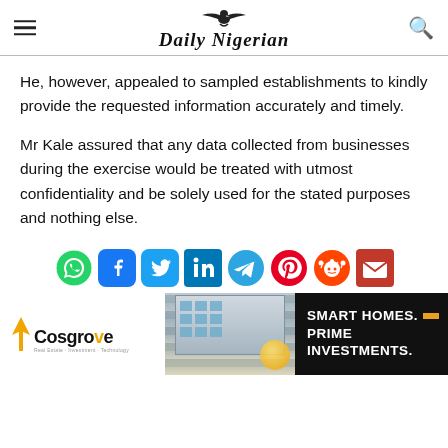Daily Nigerian
He, however, appealed to sampled establishments to kindly provide the requested information accurately and timely.
Mr Kale assured that any data collected from businesses during the exercise would be treated with utmost confidentiality and be solely used for the stated purposes and nothing else.
[Figure (infographic): Social media share icons row: WhatsApp, Facebook, Twitter, LinkedIn, Telegram, Pinterest, Reddit, Email]
[Figure (infographic): Cosgrove Real Estate advertisement banner: Cosgrove logo on left, building photo in center, dark right panel with text SMART HOMES. PRIME INVESTMENTS.]